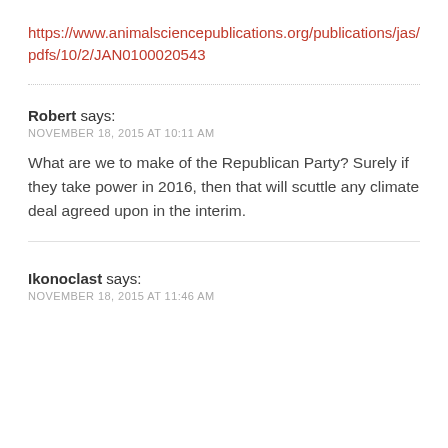https://www.animalsciencepublications.org/publications/jas/pdfs/10/2/JAN0100020543
Robert says:
NOVEMBER 18, 2015 AT 10:11 AM
What are we to make of the Republican Party? Surely if they take power in 2016, then that will scuttle any climate deal agreed upon in the interim.
Ikonoclast says:
NOVEMBER 18, 2015 AT 11:46 AM